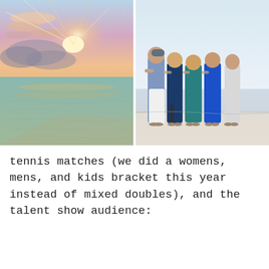[Figure (photo): Sunset over calm water with pink, orange, and purple clouds in the sky reflecting on the sea surface]
[Figure (photo): Five women standing together on a beach at dusk, wearing summer clothes, smiling at the camera]
tennis matches (we did a womens, mens, and kids bracket this year instead of mixed doubles), and the talent show audience: